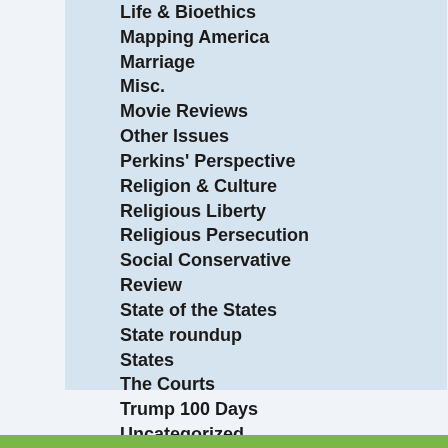Life & Bioethics
Mapping America
Marriage
Misc.
Movie Reviews
Other Issues
Perkins' Perspective
Religion & Culture
Religious Liberty
Religious Persecution
Social Conservative Review
State of the States
State roundup
States
The Courts
Trump 100 Days
Uncategorized
Video